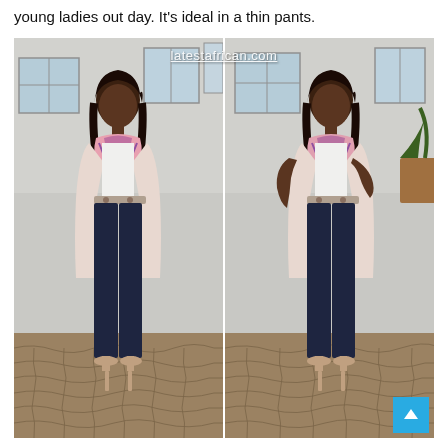young ladies out day. It's ideal in a thin pants.
[Figure (photo): Two side-by-side photos of a young woman wearing dark navy high-waisted pants, a white top, a floral scarf, and a light pink blazer. She is wearing nude heels. The background shows a paved courtyard and building windows. The image has a watermark reading 'latestafrican.com'.]